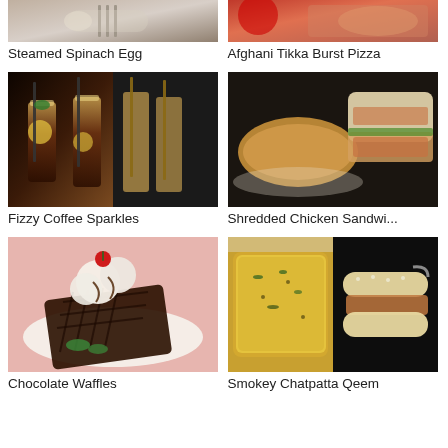[Figure (photo): Steamed Spinach Egg - partial image of food dish at top]
Steamed Spinach Egg
[Figure (photo): Afghani Tikka Burst Pizza - partial image at top]
Afghani Tikka Burst Pizza
[Figure (photo): Fizzy Coffee Sparkles - iced coffee drinks with straws]
Fizzy Coffee Sparkles
[Figure (photo): Shredded Chicken Sandwi... - croissant and white bread sandwiches]
Shredded Chicken Sandwi...
[Figure (photo): Chocolate Waffles - dark chocolate waffle with ice cream and cherry]
Chocolate Waffles
[Figure (photo): Smokey Chatpatta Qeem - casserole dish and sandwich]
Smokey Chatpatta Qeem